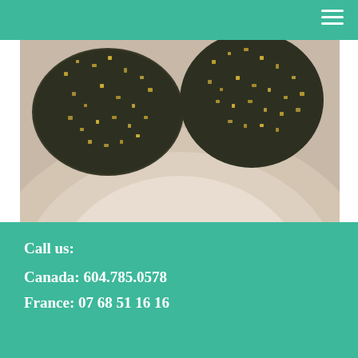[Figure (photo): Close-up macro photograph of dark mineral rocks with golden/metallic flecks (possibly pyrite or similar mineral) resting on a light beige/cream curved surface or bowl]
Call us:
Canada: 604.785.0578
France: 07 68 51 16 16